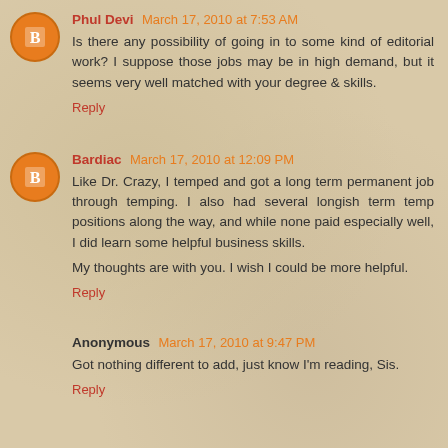Phul Devi March 17, 2010 at 7:53 AM
Is there any possibility of going in to some kind of editorial work? I suppose those jobs may be in high demand, but it seems very well matched with your degree & skills.
Reply
Bardiac March 17, 2010 at 12:09 PM
Like Dr. Crazy, I temped and got a long term permanent job through temping. I also had several longish term temp positions along the way, and while none paid especially well, I did learn some helpful business skills.
My thoughts are with you. I wish I could be more helpful.
Reply
Anonymous March 17, 2010 at 9:47 PM
Got nothing different to add, just know I'm reading, Sis.
Reply